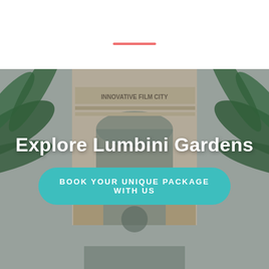[Figure (photo): Decorative coral/salmon colored horizontal line centered on white background, serving as a visual separator]
[Figure (photo): Photograph of Innovative Film City entrance gate — ornate neoclassical architecture with palm trees on both sides and sculptures. Overlaid with white text 'Explore Lumbini Gardens' and a teal button 'BOOK YOUR UNIQUE PACKAGE WITH US'. Crowds of people visible at the bottom.]
Explore Lumbini Gardens
BOOK YOUR UNIQUE PACKAGE WITH US